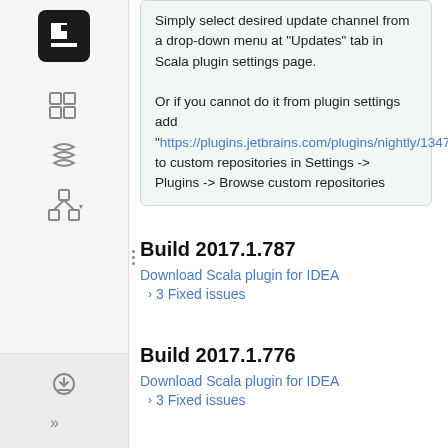Simply select desired update channel from a drop-down menu at "Updates" tab in Scala plugin settings page.

Or if you cannot do it from plugin settings add "https://plugins.jetbrains.com/plugins/nightly/1347" to custom repositories in Settings -> Plugins -> Browse custom repositories
Build 2017.1.787
Download Scala plugin for IDEA
3 Fixed issues
Build 2017.1.776
Download Scala plugin for IDEA
3 Fixed issues
Build 2017.1.773
Download Scala plugin for IDEA